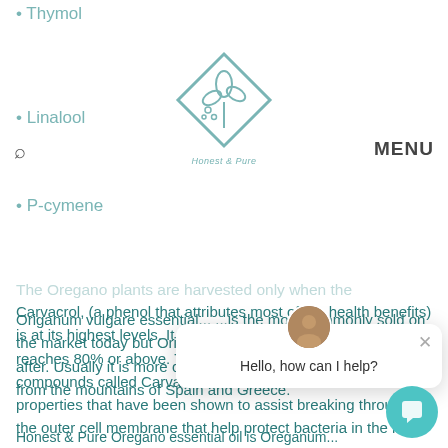• Thymol
[Figure (logo): Honest & Pure logo: a botanical plant/leaf inside a diamond shape, teal/sage color, with text 'Honest & Pure' below]
• Linalool
• P-cymene
The Oregano plants are harvested only when the
Carvacrol, (a phenol that attributes most of the health benefits) is at its highest levels. It is preferred to wait until Carvacrol reaches 80% or above. These healing phytochemical compounds called Carvacrol have powerful antimicrobial properties that have been shown to assist breaking through the outer cell membrane that help protect bacteria in the im
Origanum vulgare essentu... ... ... most commonly sold on the market today but Origanum compactum is highly sought after. Usually it is more costly as it is mostly w... harvested from the mountains of Spain and Greece.
Honest & Pure Oregano essential oil is Oreganum...
[Figure (screenshot): Chat widget popup with avatar, close button, and 'Hello, how can I help?' message, plus teal circular chat button at bottom right]